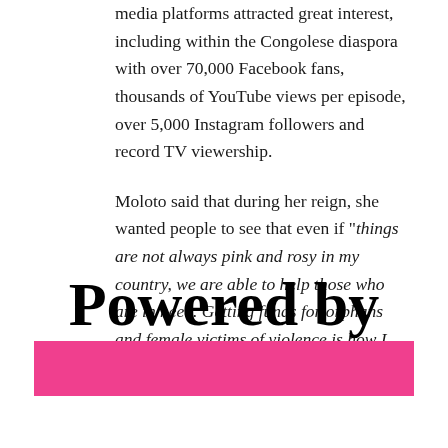media platforms attracted great interest, including within the Congolese diaspora with over 70,000 Facebook fans, thousands of YouTube views per episode, over 5,000 Instagram followers and record TV viewership.
Moloto said that during her reign, she wanted people to see that even if "things are not always pink and rosy in my country, we are able to help those who are in need. Getting funds for orphans and female victims of violence is how I want to uplift the image of my country."
Powered by